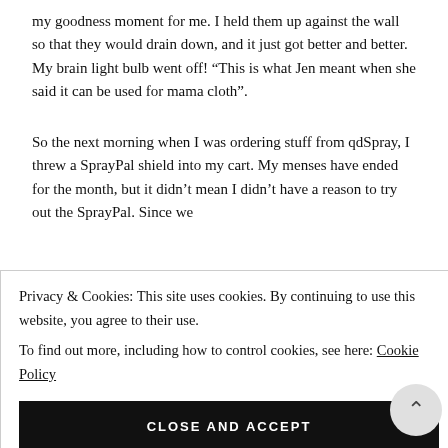my goodness moment for me. I held them up against the wall so that they would drain down, and it just got better and better. My brain light bulb went off! “This is what Jen meant when she said it can be used for mama cloth”.
So the next morning when I was ordering stuff from qdSpray, I threw a SprayPal shield into my cart. My menses have ended for the month, but it didn’t mean I didn’t have a reason to try out the SprayPal. Since we
Privacy & Cookies: This site uses cookies. By continuing to use this website, you agree to their use.
To find out more, including how to control cookies, see here: Cookie Policy
CLOSE AND ACCEPT